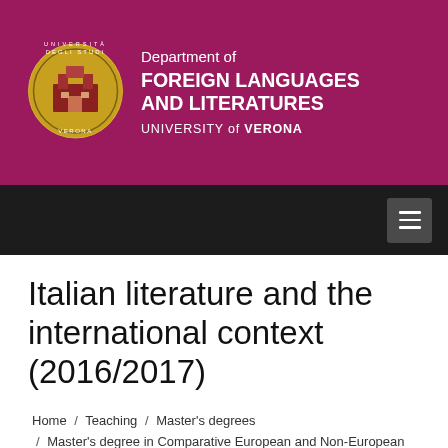[Figure (logo): University of Verona circular seal/crest logo in gold/yellow]
Department of FOREIGN LANGUAGES AND LITERATURES UNIVERSITY of VERONA
Italian literature and the international context (2016/2017)
Home / Teaching / Master's degrees / Master's degree in Comparative European and Non-European Languages and Literatures / Insegnamenti